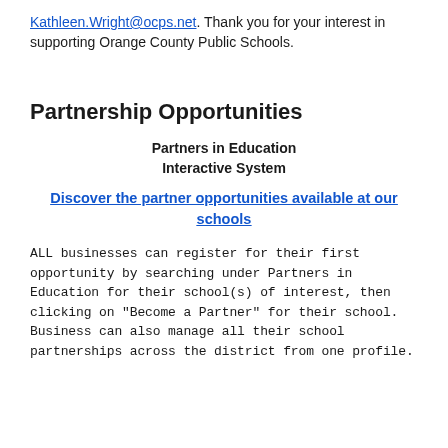Kathleen.Wright@ocps.net. Thank you for your interest in supporting Orange County Public Schools.
Partnership Opportunities
Partners in Education Interactive System
Discover the partner opportunities available at our schools
ALL businesses can register for their first opportunity by searching under Partners in Education for their school(s) of interest, then clicking on "Become a Partner" for their school. Business can also manage all their school partnerships across the district from one profile.